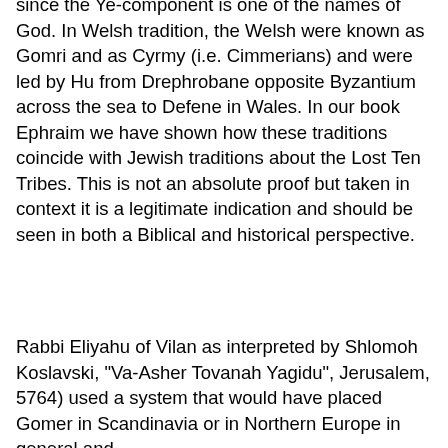since the Ye-component is one of the names of God. In Welsh tradition, the Welsh were known as Gomri and as Cyrmy (i.e. Cimmerians) and were led by Hu from Drephrobane opposite Byzantium across the sea to Defene in Wales. In our book Ephraim we have shown how these traditions coincide with Jewish traditions about the Lost Ten Tribes. This is not an absolute proof but taken in context it is a legitimate indication and should be seen in both a Biblical and historical perspective.
Rabbi Eliyahu of Vilan as interpreted by Shlomoh Koslavski, "Va-Asher Tovanah Yagidu", Jerusalem, 5764) used a system that would have placed Gomer in Scandinavia or in Northern Europe in general and